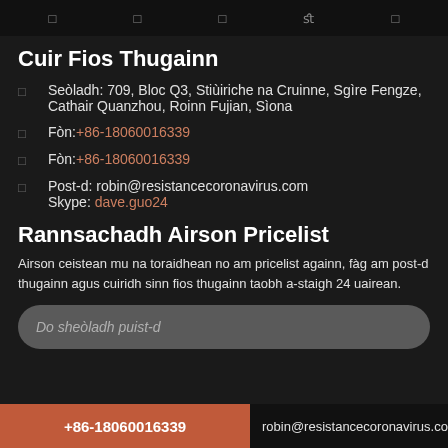□ □ □ fl □
Cuir Fios Thugainn
Seòladh: 709, Bloc Q3, Stiùiriche na Cruinne, Sgìre Fengze, Cathair Quanzhou, Roinn Fujian, Sìona
Fòn: +86-18060016339
Fòn: +86-18060016339
Post-d: robin@resistancecoronavirus.com
Skype: dave.guo24
Rannsachadh Airson Pricelist
Airson ceistean mu na toraidhean no am pricelist againn, fàg am post-d thugainn agus cuiridh sinn fios thugainn taobh a-staigh 24 uairean.
Do sheòladh puist-d
+86-18060016339   robin@resistancecoronavirus.com